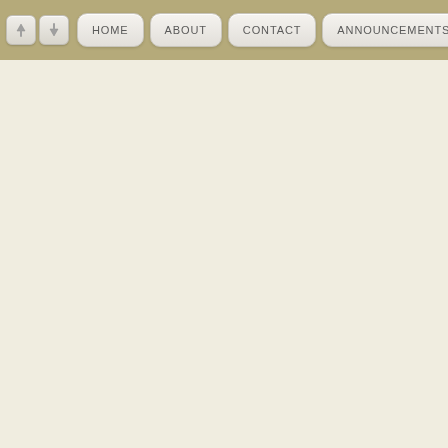HOME | ABOUT | CONTACT | ANNOUNCEMENTS | CALENDAR